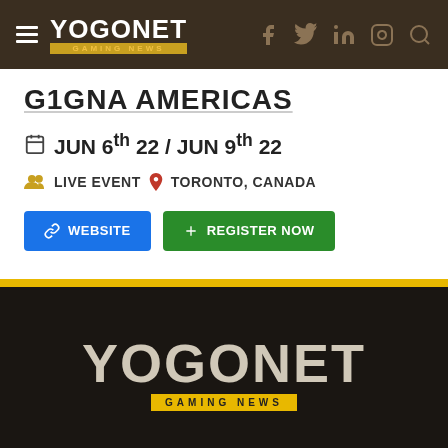YOGONET GAMING NEWS — navigation header with hamburger menu and social icons
G1GNA AMERICAS
JUN 6th 22 / JUN 9th 22
LIVE EVENT  TORONTO, CANADA
WEBSITE  +  REGISTER NOW
YOGONET GAMING NEWS